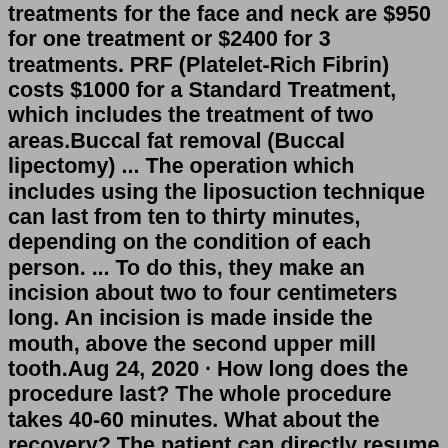treatments for the face and neck are $950 for one treatment or $2400 for 3 treatments. PRF (Platelet-Rich Fibrin) costs $1000 for a Standard Treatment, which includes the treatment of two areas.Buccal fat removal (Buccal lipectomy) ... The operation which includes using the liposuction technique can last from ten to thirty minutes, depending on the condition of each person. ... To do this, they make an incision about two to four centimeters long. An incision is made inside the mouth, above the second upper mill tooth.Aug 24, 2020 · How long does the procedure last? The whole procedure takes 40-60 minutes. What about the recovery? The patient can directly resume his regular life with minimal restrictions during the first 2 weeks. Possible complications of Buccal Fat Removal. Like any procedure, there are possible complications: infection, bruising, swelling. Buccal fat removal is considered a minor procedure compared to other facial surgeries such as a facelift. It takes like 20 mins. My doctor told me the risks right before I got mine done. Basically, if the doctor probes around